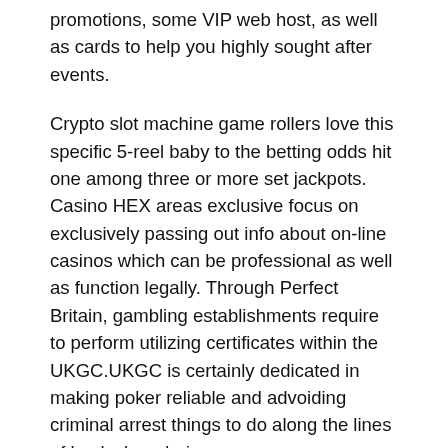promotions, some VIP web host, as well as cards to help you highly sought after events.
Crypto slot machine game rollers love this specific 5-reel baby to the betting odds hit one among three or more set jackpots. Casino HEX areas exclusive focus on exclusively passing out info about on-line casinos which can be professional as well as function legally. Through Perfect Britain, gambling establishments require to perform utilizing certificates within the UKGC.UKGC is certainly dedicated in making poker reliable and advoiding criminal arrest things to do along the lines of bucks laundering.
Creating instantaneously alienation in the bitcoin internet casino is simply straight forward service or product some other casino. Prior to making the latest revulsion in the crypto betting house, you are going to must make sure you have completed whatever wagering requirements, specially if